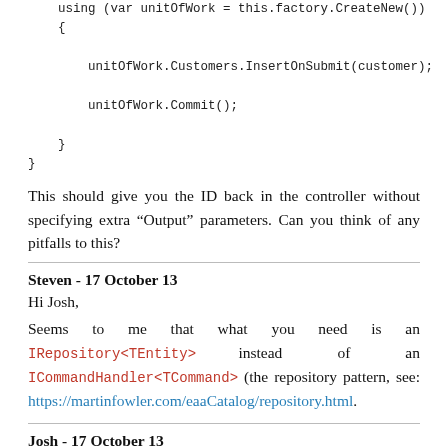using (var unitOfWork = this.factory.CreateNew())
    {

        unitOfWork.Customers.InsertOnSubmit(customer);

        unitOfWork.Commit();

    }
}
This should give you the ID back in the controller without specifying extra “Output” parameters. Can you think of any pitfalls to this?
Steven - 17 October 13
Hi Josh,
Seems to me that what you need is an IRepository<TEntity> instead of an ICommandHandler<TCommand> (the repository pattern, see: https://martinfowler.com/eaaCatalog/repository.html.
Josh - 17 October 13